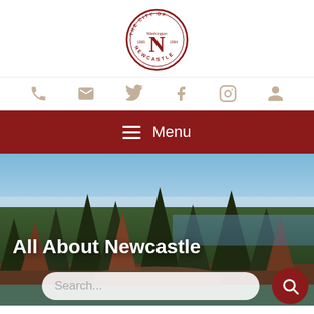[Figure (logo): The City of Newcastle, Washington circular seal/logo in dark red]
[Figure (infographic): Social media icon bar with phone, email, Twitter, Facebook, Instagram, and user/account icons in tan/beige color]
[Figure (infographic): Dark red menu navigation bar with hamburger icon and 'Menu' text in white]
[Figure (photo): Hero photo of Newcastle Washington landscape with tall evergreen trees, blue sky, and a panoramic view of the city and water in the background]
All About Newcastle
[Figure (other): Search bar with placeholder text 'Search...' and a dark red circular search button with magnifying glass icon]